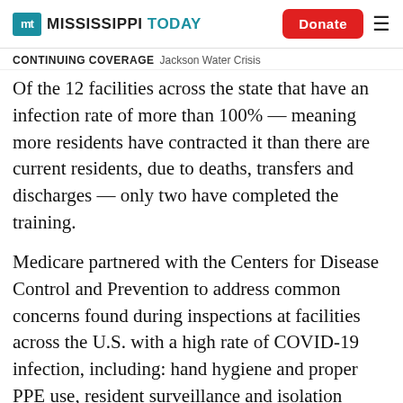MT MISSISSIPPI TODAY | Donate
CONTINUING COVERAGE  Jackson Water Crisis
Of the 12 facilities across the state that have an infection rate of more than 100% — meaning more residents have contracted it than there are current residents, due to deaths, transfers and discharges — only two have completed the training.
Medicare partnered with the Centers for Disease Control and Prevention to address common concerns found during inspections at facilities across the U.S. with a high rate of COVID-19 infection, including: hand hygiene and proper PPE use, resident surveillance and isolation strategies, cleaning, and specialty care for those with dementia during the pandemic.